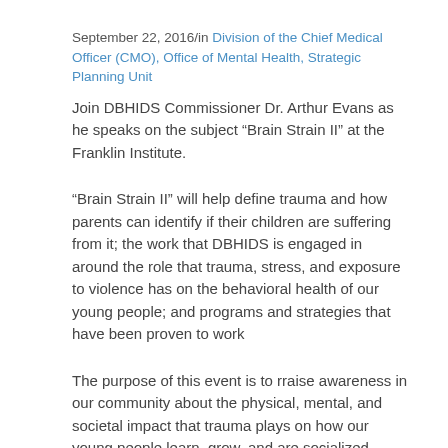September 22, 2016/in Division of the Chief Medical Officer (CMO), Office of Mental Health, Strategic Planning Unit
Join DBHIDS Commissioner Dr. Arthur Evans as he speaks on the subject “Brain Strain II” at the Franklin Institute.
“Brain Strain II” will help define trauma and how parents can identify if their children are suffering from it; the work that DBHIDS is engaged in around the role that trauma, stress, and exposure to violence has on the behavioral health of our young people; and programs and strategies that have been proven to work
The purpose of this event is to rraise awareness in our community about the physical, mental, and societal impact that trauma plays on how our young people learn, grow, and are socialized, Additionally, a multi-pronged, multi-media examination of the impact of trauma on our young people’s ability to succeed in school and beyond will be investigated, as well as tangible information to parents, caregivers, teachers, and others who care about our young people’s wellbeing